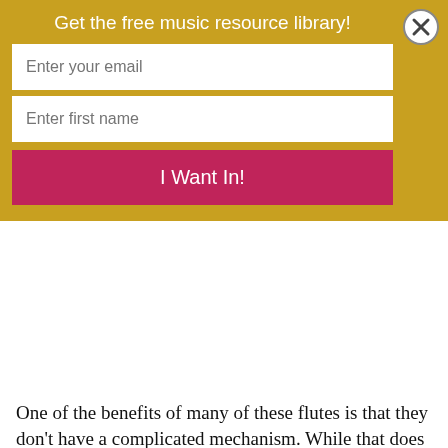[Figure (screenshot): Gold popup modal with title 'Get the free music resource library!', two text input fields (Enter your email, Enter first name), a crimson 'I Want In!' button, and a close (X) button in the top right corner.]
One of the benefits of many of these flutes is that they don't have a complicated mechanism. While that does mean these instruments can't play chromatically, it does make it easier to learn.
u don't have to worry about extra keys, and
[Figure (infographic): Advertisement banner: black circular logo with double-arrow icon, 'Save Up to 65%' in bold, 'Leesburg Premium Outlets' in blue, blue diamond navigation icon on right, close/expand controls on bottom left.]